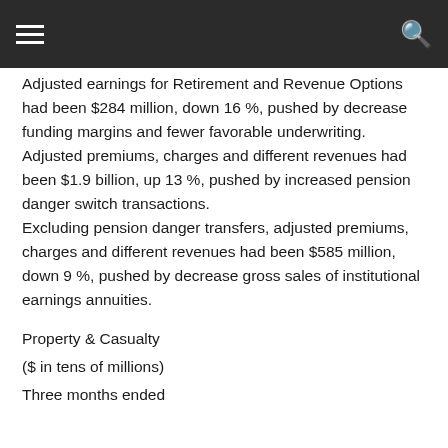Adjusted earnings for Retirement and Revenue Options had been $284 million, down 16 %, pushed by decrease funding margins and fewer favorable underwriting.
Adjusted premiums, charges and different revenues had been $1.9 billion, up 13 %, pushed by increased pension danger switch transactions.
Excluding pension danger transfers, adjusted premiums, charges and different revenues had been $585 million, down 9 %, pushed by decrease gross sales of institutional earnings annuities.
Property & Casualty
($ in tens of millions)
Three months ended